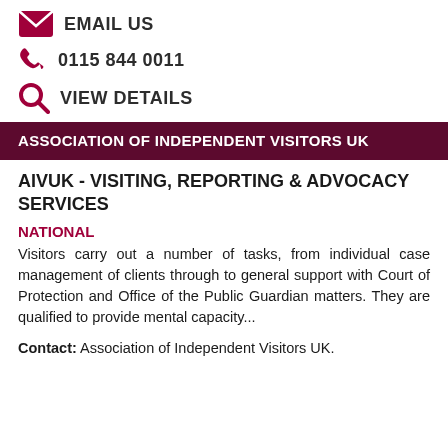EMAIL US
0115 844 0011
VIEW DETAILS
ASSOCIATION OF INDEPENDENT VISITORS UK
AIVUK - VISITING, REPORTING & ADVOCACY SERVICES
NATIONAL
Visitors carry out a number of tasks, from individual case management of clients through to general support with Court of Protection and Office of the Public Guardian matters. They are qualified to provide mental capacity...
Contact: Association of Independent Visitors UK.